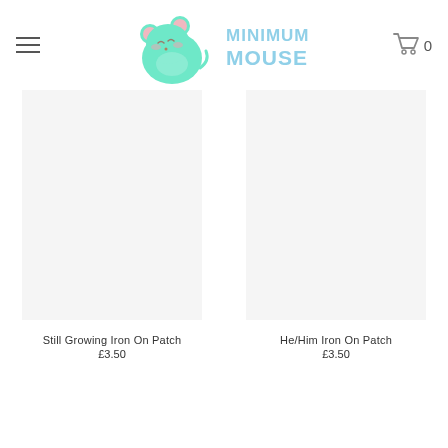[Figure (logo): Minimum Mouse logo — a cute green mouse/hamster character with closed eyes and pink ears, next to the text MINIMUM MOUSE in light blue letters]
Still Growing Iron On Patch
£3.50
He/Him Iron On Patch
£3.50